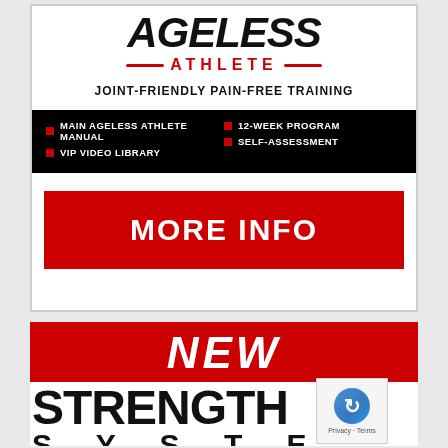[Figure (illustration): Ageless Athlete promotional banner showing brand name in large bold italic black text, red ATHLETE subtitle with decorative lines, JOINT-FRIENDLY PAIN-FREE TRAINING tagline, black info band with bullet points listing Main Ageless Athlete Manual, VIP Video Library, 12-Week Program, Self-Assessment, and a red MORE INFO button]
[Figure (illustration): New Strength System promotional banner showing NEW in large white italic text on red background, STRENGTH in large bold black text, SYSTEM in spaced black text below, with a photo strip at bottom and reCAPTCHA badge in corner]